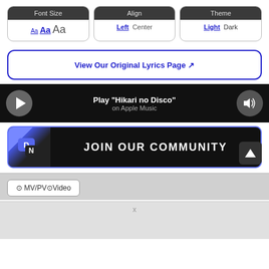[Figure (screenshot): UI controls panel with Font Size, Align, and Theme boxes]
View Our Original Lyrics Page ↗
[Figure (screenshot): Apple Music player bar: Play 'Hikari no Disco' on Apple Music]
[Figure (screenshot): JOIN OUR COMMUNITY Discord banner button]
⊙ MV/PV⊙Video